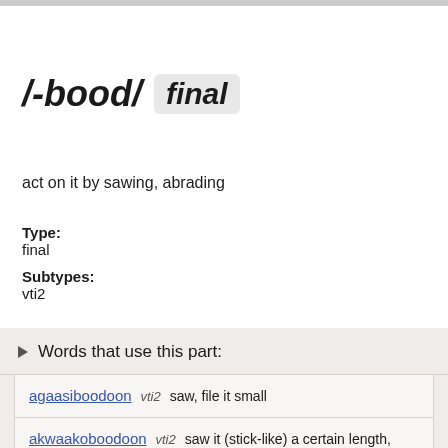/-bood/ final
act on it by sawing, abrading
Type:
final
Subtypes:
vti2
▸ Words that use this part:
agaasiboodoon  vti2  saw, file it small
akwaakoboodoon  vti2  saw it (stick-like) a certain length, saw it (stick-like) so long
bagoneboodoon  vti2  saw or drill a hole in it